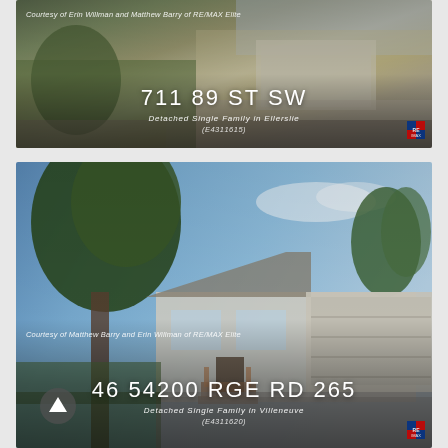[Figure (photo): Exterior photo of a detached single family home at 711 89 ST SW in Ellerslie, showing a house with attached garage and driveway. Text overlay shows courtesy credit, address, property type, and MLS number.]
[Figure (photo): Exterior photo of a detached single family home at 46 54200 RGE RD 265 in Villeneuve, showing a bungalow style home with large tree in foreground and attached garage. Text overlay shows courtesy credit, address, property type, and MLS number.]